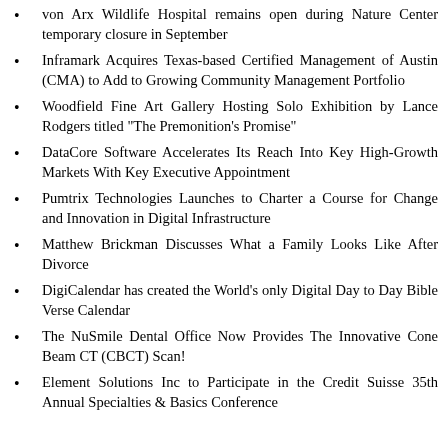von Arx Wildlife Hospital remains open during Nature Center temporary closure in September
Inframark Acquires Texas-based Certified Management of Austin (CMA) to Add to Growing Community Management Portfolio
Woodfield Fine Art Gallery Hosting Solo Exhibition by Lance Rodgers titled "The Premonition's Promise"
DataCore Software Accelerates Its Reach Into Key High-Growth Markets With Key Executive Appointment
Pumtrix Technologies Launches to Charter a Course for Change and Innovation in Digital Infrastructure
Matthew Brickman Discusses What a Family Looks Like After Divorce
DigiCalendar has created the World's only Digital Day to Day Bible Verse Calendar
The NuSmile Dental Office Now Provides The Innovative Cone Beam CT (CBCT) Scan!
Element Solutions Inc to Participate in the Credit Suisse 35th Annual Specialties & Basics Conference